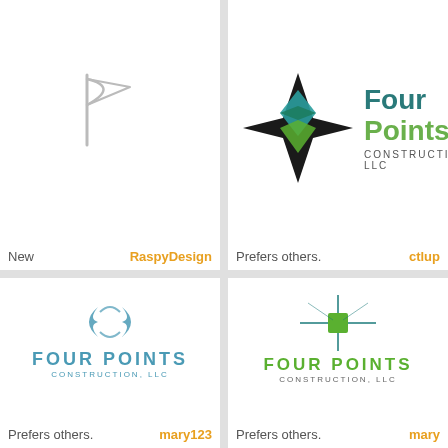[Figure (logo): Gray flag icon, placeholder/empty state]
New
RaspyDesign
[Figure (logo): Four Points Construction LLC logo with black diamond compass star shape, teal and green accents, bold text]
Prefers others.
ctlup
[Figure (logo): Four Points Construction LLC logo with teal circular swoosh symbol and blue text]
Prefers others.
mary123
[Figure (logo): Four Points Construction LLC logo with green star/sparkle and green bold text]
Prefers others.
mary
[Figure (logo): Partial logo visible at bottom left, appears to be a triangular/house shape]